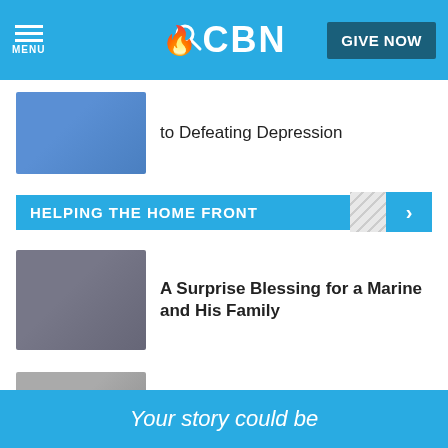CBN — MENU | Search | GIVE NOW
to Defeating Depression
HELPING THE HOME FRONT
A Surprise Blessing for a Marine and His Family
Help for Those Protecting America
You Gave This Military Mom a Victorious Outcome
Your story could be